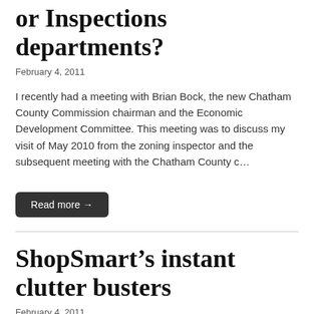or Inspections departments?
February 4, 2011
I recently had a meeting with Brian Bock, the new Chatham County Commission chairman and the Economic Development Committee. This meeting was to discuss my visit of May 2010 from the zoning inspector and the subsequent meeting with the Chatham County c…
Read more →
ShopSmart's instant clutter busters
February 4, 2011